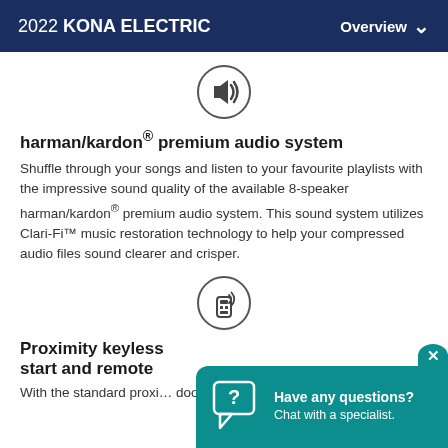2022 KONA ELECTRIC — Overview
[Figure (illustration): Speaker/audio icon — circular icon with a loudspeaker symbol]
harman/kardon® premium audio system
Shuffle through your songs and listen to your favourite playlists with the impressive sound quality of the available 8-speaker harman/kardon® premium audio system. This sound system utilizes Clari-Fi™ music restoration technology to help your compressed audio files sound clearer and crisper.
[Figure (illustration): Key fob with wireless signal icon — circular icon with a remote key fob]
Proximity keyless start and remote
With the standard proxi… doors and start the vehic…
[Figure (other): Chat widget overlay with question mark icon, text: Have any questions? Chat with a specialist.]